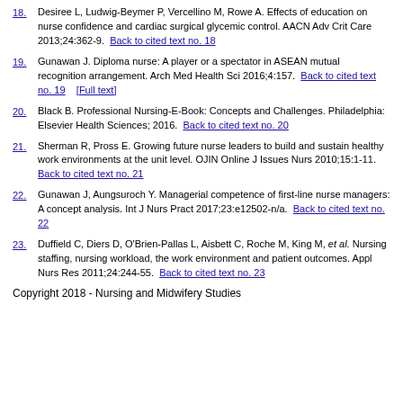18. Desiree L, Ludwig-Beymer P, Vercellino M, Rowe A. Effects of education on nurse confidence and cardiac surgical glycemic control. AACN Adv Crit Care 2013;24:362-9.  Back to cited text no. 18
19. Gunawan J. Diploma nurse: A player or a spectator in ASEAN mutual recognition arrangement. Arch Med Health Sci 2016;4:157.  Back to cited text no. 19  [Full text]
20. Black B. Professional Nursing-E-Book: Concepts and Challenges. Philadelphia: Elsevier Health Sciences; 2016.  Back to cited text no. 20
21. Sherman R, Pross E. Growing future nurse leaders to build and sustain healthy work environments at the unit level. OJIN Online J Issues Nurs 2010;15:1-11.  Back to cited text no. 21
22. Gunawan J, Aungsuroch Y. Managerial competence of first-line nurse managers: A concept analysis. Int J Nurs Pract 2017;23:e12502-n/a.  Back to cited text no. 22
23. Duffield C, Diers D, O'Brien-Pallas L, Aisbett C, Roche M, King M, et al. Nursing staffing, nursing workload, the work environment and patient outcomes. Appl Nurs Res 2011;24:244-55.  Back to cited text no. 23
Copyright 2018 - Nursing and Midwifery Studies